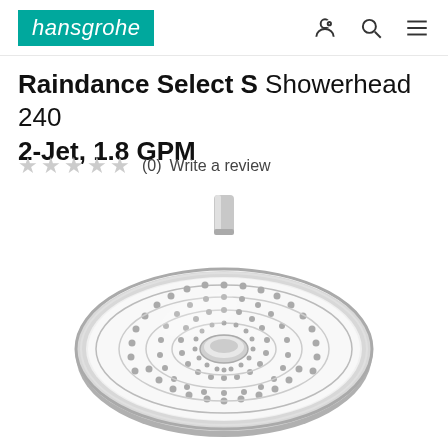hansgrohe
Raindance Select S Showerhead 240 2-Jet, 1.8 GPM
★★★★★ (0)  Write a review
[Figure (photo): Hansgrohe Raindance Select S 240 round overhead showerhead in chrome finish, viewed from a slight angle showing the spray face with concentric rings of nozzles and a center button/selector, with a short chrome pipe arm at top center.]